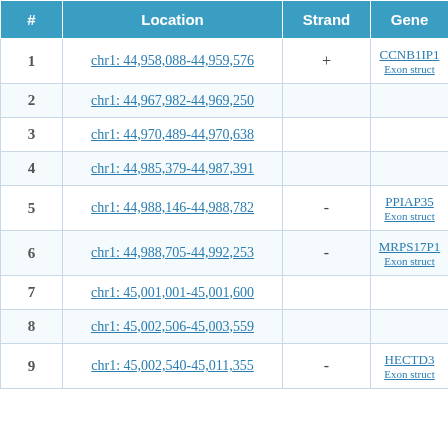| # | Location | Strand | Gene |
| --- | --- | --- | --- |
| 1 | chr1: 44,958,088-44,959,576 | + | CCNB1IP1
Exon struct |
| 2 | chr1: 44,967,982-44,969,250 |  |  |
| 3 | chr1: 44,970,489-44,970,638 |  |  |
| 4 | chr1: 44,985,379-44,987,391 |  |  |
| 5 | chr1: 44,988,146-44,988,782 | - | PPIAP35
Exon struct |
| 6 | chr1: 44,988,705-44,992,253 | - | MRPS17P1
Exon struct |
| 7 | chr1: 45,001,001-45,001,600 |  |  |
| 8 | chr1: 45,002,506-45,003,559 |  |  |
| 9 | chr1: 45,002,540-45,011,355 | - | HECTD3
Exon struct |